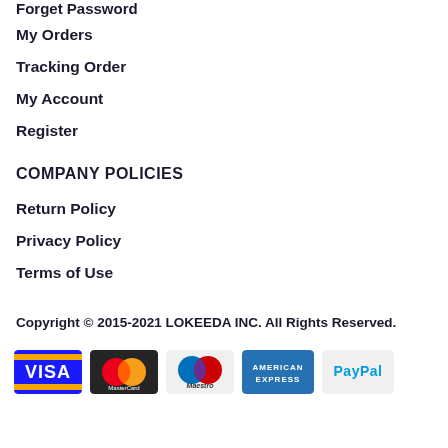Forget Password
My Orders
Tracking Order
My Account
Register
COMPANY POLICIES
Return Policy
Privacy Policy
Terms of Use
Copyright © 2015-2021 LOKEEDA INC. All Rights Reserved.
[Figure (logo): Payment method logos: VISA, MasterCard, Maestro, American Express, PayPal]